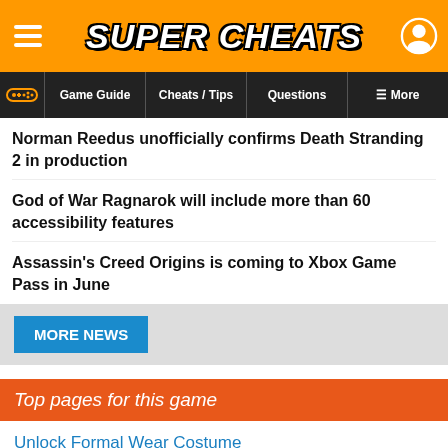Super Cheats
Game Guide | Cheats / Tips | Questions | More
Norman Reedus unofficially confirms Death Stranding 2 in production
God of War Ragnarok will include more than 60 accessibility features
Assassin's Creed Origins is coming to Xbox Game Pass in June
MORE NEWS
Top pages for this game
Unlock Formal Wear Costume
Item Drops
Experience Points Glitch
Presents
Unlock L'Cie Mode